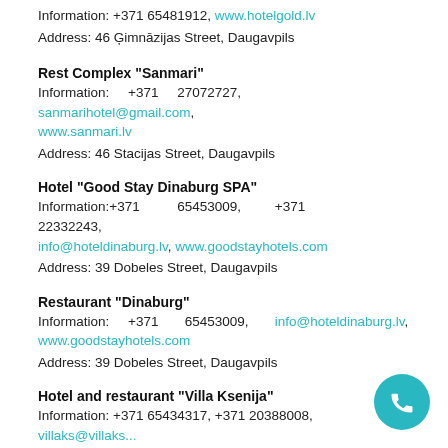Information: +371 65481912, www.hotelgold.lv
Address: 46 Ģimnāzijas Street, Daugavpils
Rest Complex "Sanmari"
Information: +371 27072727, sanmarihotel@gmail.com, www.sanmari.lv
Address: 46 Stacijas Street, Daugavpils
Hotel "Good Stay Dinaburg SPA"
Information:+371 65453009, +371 22332243, info@hoteldinaburg.lv, www.goodstayhotels.com
Address: 39 Dobeles Street, Daugavpils
Restaurant "Dinaburg"
Information: +371 65453009, info@hoteldinaburg.lv, www.goodstayhotels.com
Address: 39 Dobeles Street, Daugavpils
Hotel and restaurant "Villa Ksenija"
Information: +371 65434317, +371 20388008, villaks@villaks..., www.villaks.lv